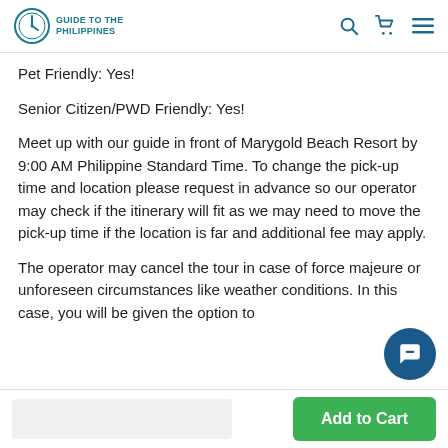Guide to the Philippines
Pet Friendly: Yes!
Senior Citizen/PWD Friendly: Yes!
Meet up with our guide in front of Marygold Beach Resort by 9:00 AM Philippine Standard Time. To change the pick-up time and location please request in advance so our operator may check if the itinerary will fit as we may need to move the pick-up time if the location is far and additional fee may apply.
The operator may cancel the tour in case of force majeure or unforeseen circumstances like weather conditions. In this case, you will be given the option to...
Add to Cart